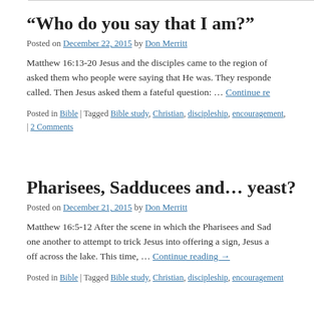“Who do you say that I am?”
Posted on December 22, 2015 by Don Merritt
Matthew 16:13-20 Jesus and the disciples came to the region of … asked them who people were saying that He was. They responded… called. Then Jesus asked them a fateful question: … Continue reading →
Posted in Bible | Tagged Bible study, Christian, discipleship, encouragement, | 2 Comments
Pharisees, Sadducees and… yeast?
Posted on December 21, 2015 by Don Merritt
Matthew 16:5-12 After the scene in which the Pharisees and Sad… one another to attempt to trick Jesus into offering a sign, Jesus a… off across the lake. This time, … Continue reading →
Posted in Bible | Tagged Bible study, Christian, discipleship, encouragement